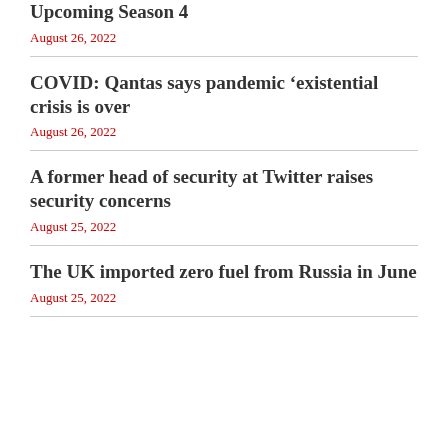Upcoming Season 4
August 26, 2022
COVID: Qantas says pandemic ‘existential crisis is over
August 26, 2022
A former head of security at Twitter raises security concerns
August 25, 2022
The UK imported zero fuel from Russia in June
August 25, 2022